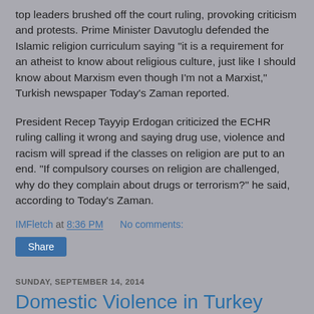top leaders brushed off the court ruling, provoking criticism and protests. Prime Minister Davutoglu defended the Islamic religion curriculum saying "it is a requirement for an atheist to know about religious culture, just like I should know about Marxism even though I'm not a Marxist," Turkish newspaper Today's Zaman reported.
President Recep Tayyip Erdogan criticized the ECHR ruling calling it wrong and saying drug use, violence and racism will spread if the classes on religion are put to an end. "If compulsory courses on religion are challenged, why do they complain about drugs or terrorism?" he said, according to Today's Zaman.
IMFletch at 8:36 PM    No comments:
Share
SUNDAY, SEPTEMBER 14, 2014
Domestic Violence in Turkey